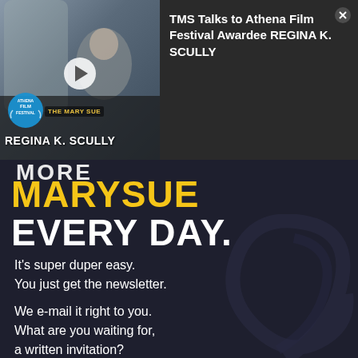[Figure (screenshot): Video thumbnail showing a woman at what appears to be the Athena Film Festival with REGINA K. SCULLY name label, play button overlay, and The Mary Sue logo]
TMS Talks to Athena Film Festival Awardee REGINA K. SCULLY
[Figure (infographic): Dark navy promotional banner for The Mary Sue newsletter. Text reads: MORE MARYSUE EVERY DAY. It's super duper easy. You just get the newsletter. We e-mail it right to you. What are you waiting for, a written invitation? Well, here it is: You're invited. ...Pretty please.]